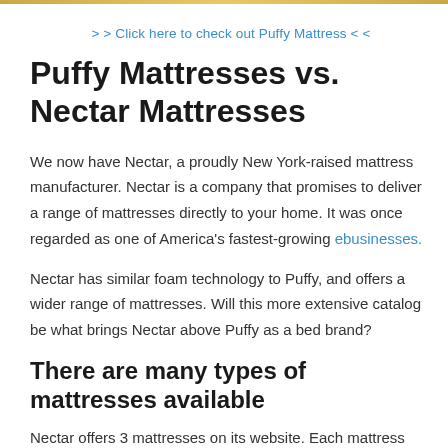> > Click here to check out Puffy Mattress < <
Puffy Mattresses vs. Nectar Mattresses
We now have Nectar, a proudly New York-raised mattress manufacturer. Nectar is a company that promises to deliver a range of mattresses directly to your home. It was once regarded as one of America's fastest-growing ebusinesses.
Nectar has similar foam technology to Puffy, and offers a wider range of mattresses. Will this more extensive catalog be what brings Nectar above Puffy as a bed brand?
There are many types of mattresses available
Nectar offers 3 mattresses on its website. Each mattress can be